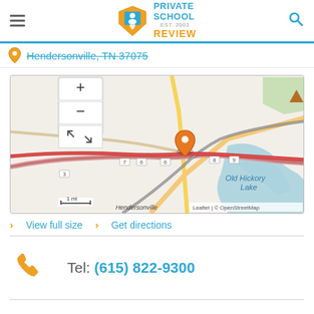Private School Review - Est. 2003
Hendersonville, TN 37075
[Figure (map): OpenStreetMap of Hendersonville, TN area showing Old Hickory Lake, with an orange location pin marking a school address. Map includes zoom controls (+/-) and scale bar showing 1 mi. Attribution: Leaflet | © OpenStreetMap]
View full size   Get directions
Tel: (615) 822-9300